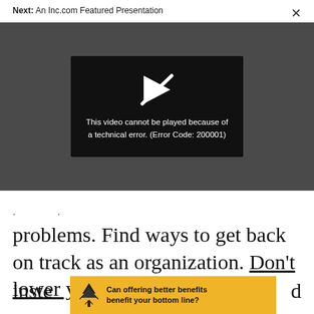Next: An Inc.com Featured Presentation
[Figure (screenshot): Video player showing error message: 'This video cannot be played because of a technical error. (Error Code: 200001)' with a play icon with a slash through it on a dark background]
problems. Find ways to get back on track as an organization. Don't lower your standards, inste[ad] [raise] d[...]
[Figure (infographic): Yellow advertisement banner with tree logo reading 'Can offering better benefits benefit your bottom line?']